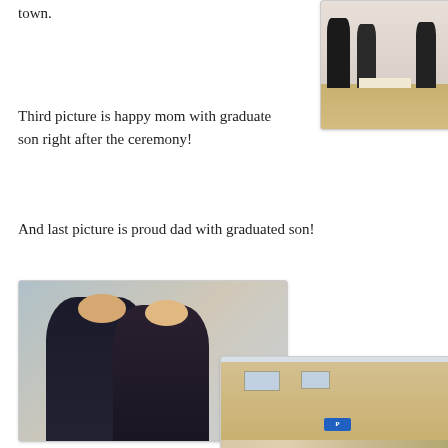town.
[Figure (photo): People gathered in a room, possibly at a ceremony or reception, with papers on a table and wooden floor visible.]
Third picture is happy mom with graduate son right after the ceremony!
And last picture is proud dad with graduated son!
[Figure (photo): A smiling young man in a dark striped shirt and a smiling blonde woman, with other people visible in the background at a reception.]
[Figure (photo): Outdoor street scene showing a building facade with a blue parking sign visible.]